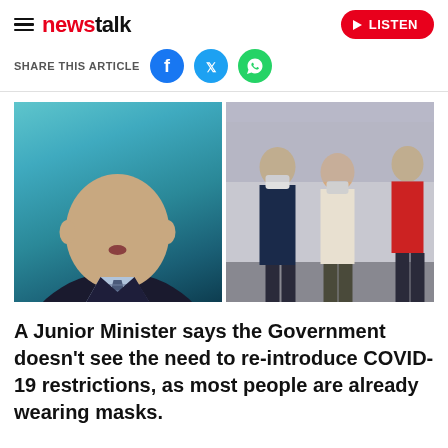newstalk — LISTEN
SHARE THIS ARTICLE
[Figure (photo): Two-panel composite image: left panel shows a bald middle-aged man in a dark suit and patterned tie speaking, against a teal background; right panel shows people walking on a busy street, with two women in the foreground wearing face masks.]
A Junior Minister says the Government doesn't see the need to re-introduce COVID-19 restrictions, as most people are already wearing masks.